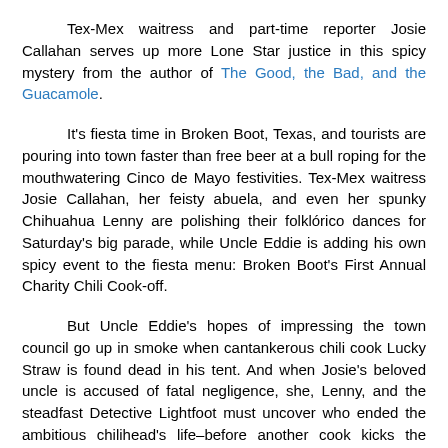Tex-Mex waitress and part-time reporter Josie Callahan serves up more Lone Star justice in this spicy mystery from the author of The Good, the Bad, and the Guacamole.
It's fiesta time in Broken Boot, Texas, and tourists are pouring into town faster than free beer at a bull roping for the mouthwatering Cinco de Mayo festivities. Tex-Mex waitress Josie Callahan, her feisty abuela, and even her spunky Chihuahua Lenny are polishing their folklórico dances for Saturday's big parade, while Uncle Eddie is adding his own spicy event to the fiesta menu: Broken Boot's First Annual Charity Chili Cook-off.
But Uncle Eddie's hopes of impressing the town council go up in smoke when cantankerous chili cook Lucky Straw is found dead in his tent. And when Josie's beloved uncle is accused of fatal negligence, she, Lenny, and the steadfast Detective Lightfoot must uncover who ended the ambitious chilihead's life–before another cook kicks the bucket.